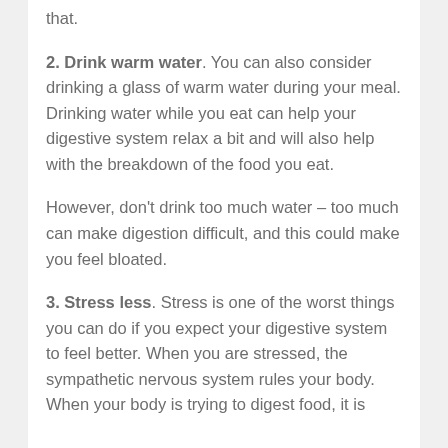that.
2. Drink warm water. You can also consider drinking a glass of warm water during your meal. Drinking water while you eat can help your digestive system relax a bit and will also help with the breakdown of the food you eat.
However, don't drink too much water – too much can make digestion difficult, and this could make you feel bloated.
3. Stress less. Stress is one of the worst things you can do if you expect your digestive system to feel better. When you are stressed, the sympathetic nervous system rules your body. When your body is trying to digest food, it is